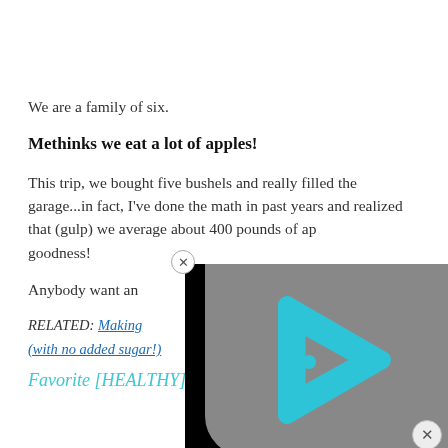We are a family of six.
Methinks we eat a lot of apples!
This trip, we bought five bushels and really filled the garage...in fact, I've done the math in past years and realized that (gulp) we average about 400 pounds of ap[ple] goodness!
Anybody want an[y]
RELATED: Making (with no added sugar!)
Favorite [HEALTHY] Apple
[Figure (other): Video player overlay with a cyan/teal play button logo on a gray background, black borders, and a close (x) button]